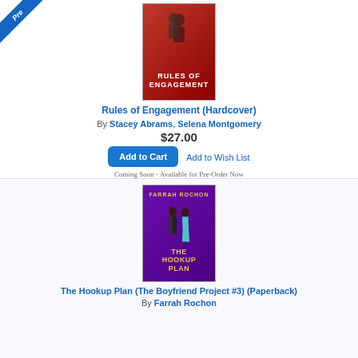[Figure (illustration): Pre-order ribbon badge in top-left corner, blue diagonal banner with 'Pre' text visible]
[Figure (illustration): Book cover for 'Rules of Engagement' — red background with silhouette figures and bold white title text]
Rules of Engagement (Hardcover)
By Stacey Abrams, Selena Montgomery
$27.00
Add to Wish List
Add to Cart
Coming Soon - Available for Pre-Order Now
[Figure (illustration): Book cover for 'The Hookup Plan' by Farrah Rochon — purple background with illustrated couple and gold title text]
The Hookup Plan (The Boyfriend Project #3) (Paperback)
By Farrah Rochon